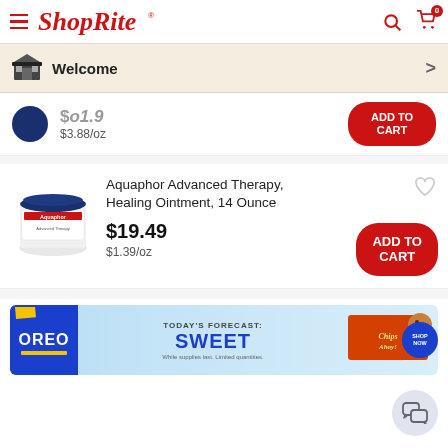ShopRite
Welcome
$3.88/oz — ADD TO CART (partial product row)
Aquaphor Advanced Therapy, Healing Ointment, 14 Ounce
$19.49
$1.39/oz
ADD TO CART
[Figure (screenshot): Advertisement banner: Today's Forecast: SWEET — showing Oreo and Chips Ahoy cookies with 'SHOP NOW' button]